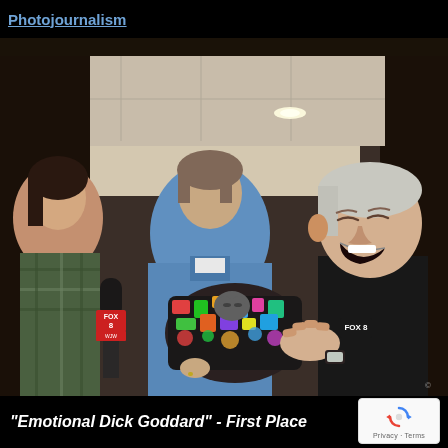Photojournalism
[Figure (photo): A joyful elderly man in a black FOX 8 shirt laughing while touching a small grey cat wrapped in a colorful blanket, held by a woman in a blue shirt. A reporter with a FOX 8 WJW microphone stands on the left.]
"Emotional Dick Goddard" - First Place